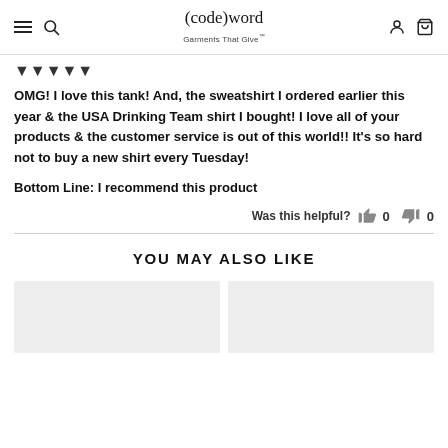(code)word Garments That Give™
♥♥♥♥♥
OMG! I love this tank! And, the sweatshirt I ordered earlier this year & the USA Drinking Team shirt I bought! I love all of your products & the customer service is out of this world!! It's so hard not to buy a new shirt every Tuesday!
Bottom Line: I recommend this product
Was this helpful? 👍 0 👎 0
YOU MAY ALSO LIKE
[Figure (photo): Two product image placeholders (light gray rectangles) shown side by side under the 'You May Also Like' section.]